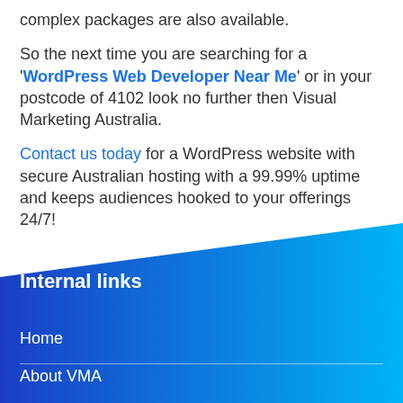complex packages are also available.
So the next time you are searching for a 'WordPress Web Developer Near Me' or in your postcode of 4102 look no further then Visual Marketing Australia.
Contact us today for a WordPress website with secure Australian hosting with a 99.99% uptime and keeps audiences hooked to your offerings 24/7!
Internal links
Home
About VMA